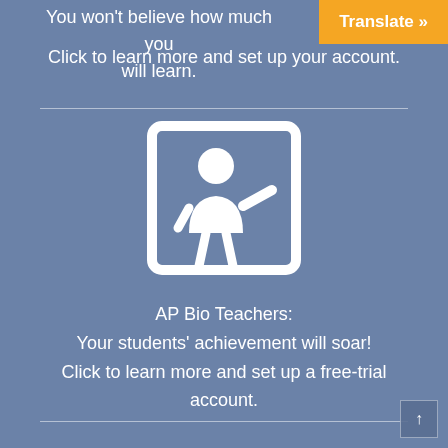You won't believe how much you will learn.
Click to learn more and set up your account.
Translate »
[Figure (illustration): White icon of a teacher standing at a whiteboard/presentation board, depicted in a simple flat style on a blue background]
AP Bio Teachers:
Your students' achievement will soar!
Click to learn more and set up a free-trial account.